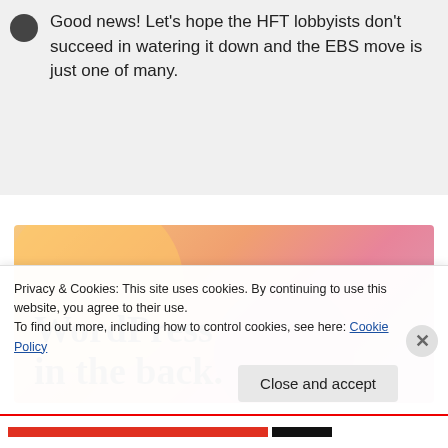Good news! Let’s hope the HFT lobbyists don’t succeed in watering it down and the EBS move is just one of many.
[Figure (illustration): Promotional banner with colorful gradient background (peach, salmon, pink) and bold serif text reading 'WordPress in the back.']
Privacy & Cookies: This site uses cookies. By continuing to use this website, you agree to their use.
To find out more, including how to control cookies, see here: Cookie Policy
Close and accept